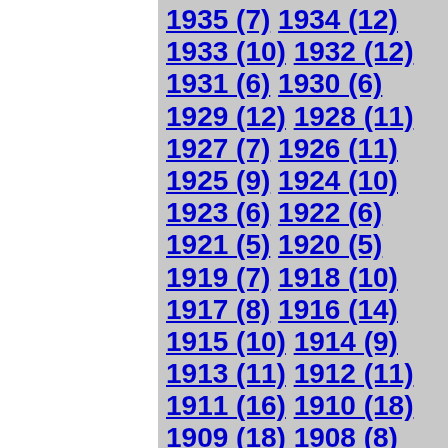1935 (7) 1934 (12) 1933 (10) 1932 (12) 1931 (6) 1930 (6) 1929 (12) 1928 (11) 1927 (7) 1926 (11) 1925 (9) 1924 (10) 1923 (6) 1922 (6) 1921 (5) 1920 (5) 1919 (7) 1918 (10) 1917 (8) 1916 (14) 1915 (10) 1914 (9) 1913 (11) 1912 (11) 1911 (16) 1910 (18) 1909 (18) 1908 (8) 1907 (12) 1906 (8) 1905 (13) 1904 (12) 1903 (4) 1902 (3) 1901 (5) 1900 (9) 1899 (18) 1898 (3) 1897 (7)